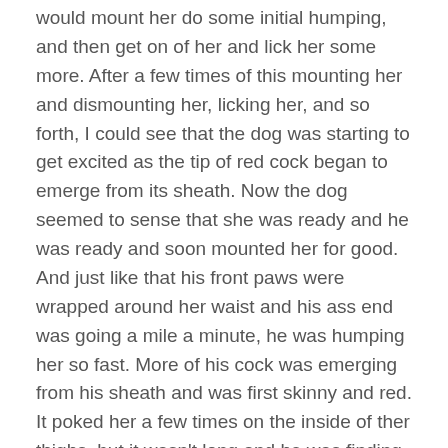would mount her do some initial humping, and then get of her and lick her some more. After a few times of this mounting her and dismounting her, licking her, and so forth, I could see that the dog was starting to get excited as the tip of red cock began to emerge from its sheath. Now the dog seemed to sense that she was ready and he was ready and soon mounted her for good. And just like that his front paws were wrapped around her waist and his ass end was going a mile a minute, he was humping her so fast. More of his cock was emerging from his sheath and was first skinny and red. It poked her a few times on the inside of ther thighs, but it wasn't long and he was finding his way in her pussy. He seemed to clamp down tighter on her then, not wanting her to get away. I could see that his cock was now a 4-5 inches inside of her, and it was beginning to swell in size. Very soon after that I could see his knot emerge from the sheath, and at that time it was the size of a walnut in the shell. My wife took it easily when he pushed that in her pussy.
The dog continued with his frenzied pumping, and you could